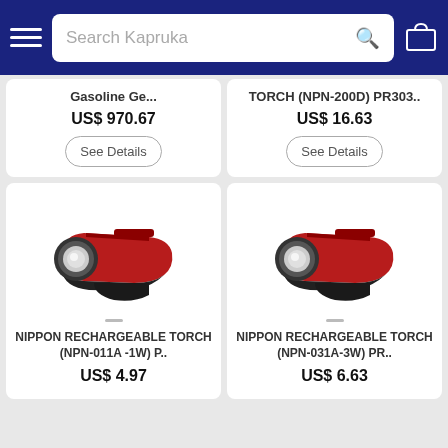Search Kapruka
Gasoline Ge...
US$ 970.67
TORCH (NPN-200D) PR303..
US$ 16.63
[Figure (photo): Red rechargeable torch NIPPON NPN-011A-1W]
NIPPON RECHARGEABLE TORCH (NPN-011A -1W) P..
US$ 4.97
[Figure (photo): Red rechargeable torch NIPPON NPN-031A-3W]
NIPPON RECHARGEABLE TORCH (NPN-031A-3W) PR..
US$ 6.63